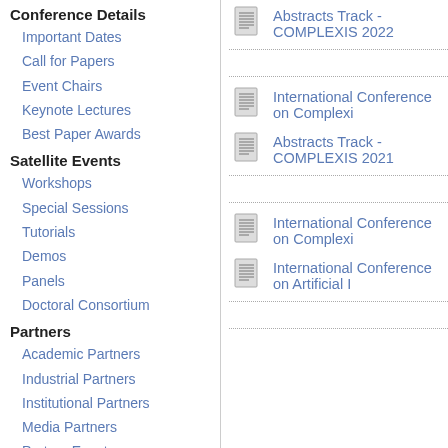Conference Details
Important Dates
Call for Papers
Event Chairs
Keynote Lectures
Best Paper Awards
Satellite Events
Workshops
Special Sessions
Tutorials
Demos
Panels
Doctoral Consortium
Partners
Academic Partners
Industrial Partners
Institutional Partners
Media Partners
Partner Events
Publication Partners
Previous Conferences
Events
Abstracts
Invited Speakers
Awards
Abstracts Track - COMPLEXIS 2022
International Conference on Complexi...
Abstracts Track - COMPLEXIS 2021
International Conference on Complexi...
International Conference on Artificial I...